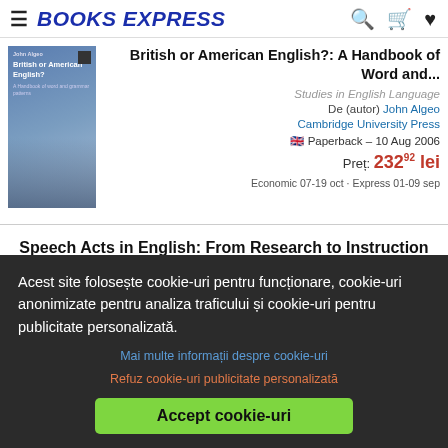BOOKS EXPRESS
[Figure (illustration): Book cover for British or American English?: A Handbook of Word and Grammar Patterns, blue cover with city/architecture imagery]
British or American English?: A Handbook of Word and...
Studies in English Language
De (autor) John Algeo
Cambridge University Press
Paperback – 10 Aug 2006
Preț: 232⁹² lei
Economic 07-19 oct · Express 01-09 sep
Speech Acts in English: From Research to Instruction and
Acest site folosește cookie-uri pentru funcționare, cookie-uri anonimizate pentru analiza traficului și cookie-uri pentru publicitate personalizată.
Mai multe informații despre cookie-uri
Refuz cookie-uri publicitate personalizată
Accept cookie-uri